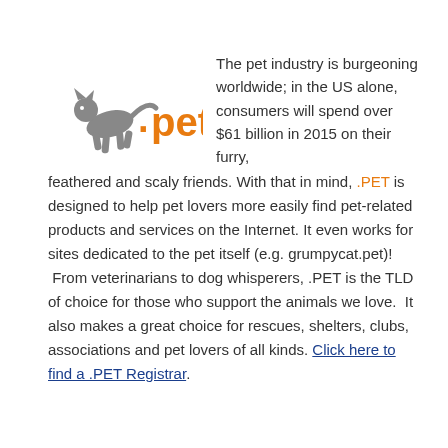[Figure (logo): .pet domain logo with orange text and gray animal silhouette]
The pet industry is burgeoning worldwide; in the US alone, consumers will spend over $61 billion in 2015 on their furry, feathered and scaly friends. With that in mind, .PET is designed to help pet lovers more easily find pet-related products and services on the Internet. It even works for sites dedicated to the pet itself (e.g. grumpycat.pet)! From veterinarians to dog whisperers, .PET is the TLD of choice for those who support the animals we love. It also makes a great choice for rescues, shelters, clubs, associations and pet lovers of all kinds. Click here to find a .PET Registrar.